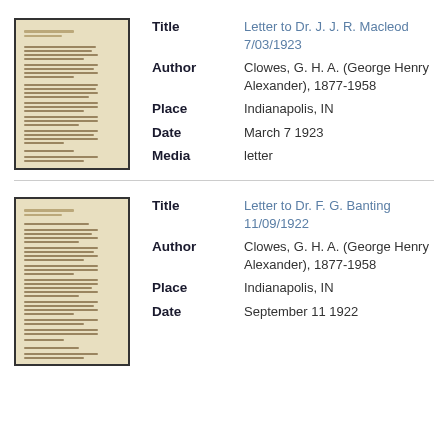[Figure (photo): Thumbnail image of a historical letter document, aged paper with typewritten text, dark border]
| Title | Letter to Dr. J. J. R. Macleod 7/03/1923 |
| Author | Clowes, G. H. A. (George Henry Alexander), 1877-1958 |
| Place | Indianapolis, IN |
| Date | March 7 1923 |
| Media | letter |
[Figure (photo): Thumbnail image of a historical letter document, aged paper with typewritten text, dark border]
| Title | Letter to Dr. F. G. Banting 11/09/1922 |
| Author | Clowes, G. H. A. (George Henry Alexander), 1877-1958 |
| Place | Indianapolis, IN |
| Date | September 11 1922 |